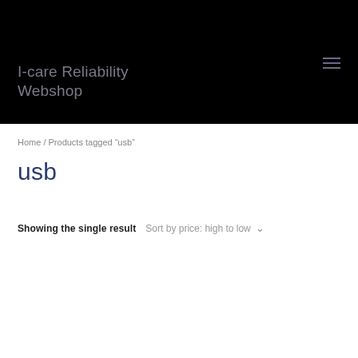I-care Reliability Webshop
Home / Products tagged “usb”
usb
Showing the single result Sort by price: high to low ∨